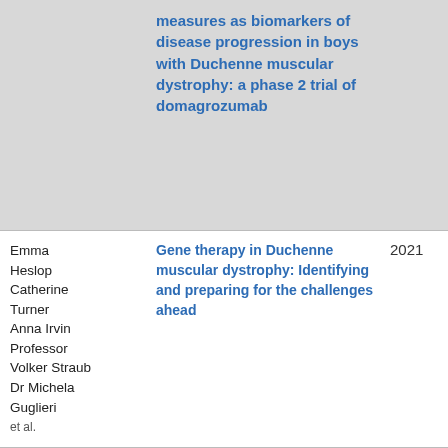| Authors | Title | Year |
| --- | --- | --- |
|  | measures as biomarkers of disease progression in boys with Duchenne muscular dystrophy: a phase 2 trial of domagrozumab |  |
| Emma Heslop
Catherine Turner
Anna Irvin
Professor Volker Straub
Dr Michela Guglieri
et al. | Gene therapy in Duchenne muscular dystrophy: Identifying and preparing for the challenges ahead | 2021 |
| Professor Elaine McColl
Dr Michela Guglieri | Health related quality of life in young, steroid-naïve boys with Duchenne muscular dystrophy | 2021 |